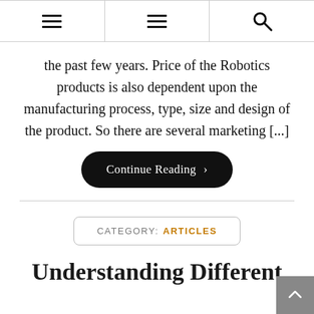Navigation header with two hamburger menu icons and a search icon
the past few years. Price of the Robotics products is also dependent upon the manufacturing process, type, size and design of the product. So there are several marketing [...]
Continue Reading >
CATEGORY: ARTICLES
Understanding Different